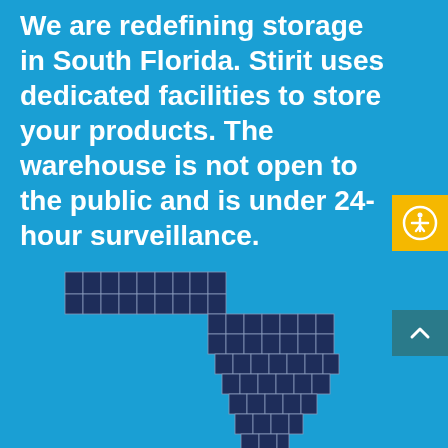We are redefining storage in South Florida. Stirit uses dedicated facilities to store your products. The warehouse is not open to the public and is under 24-hour surveillance.
[Figure (map): Map of Florida showing county boundaries in dark navy blue, with South Florida region highlighted in gold/yellow, and location pins in the South Florida area]